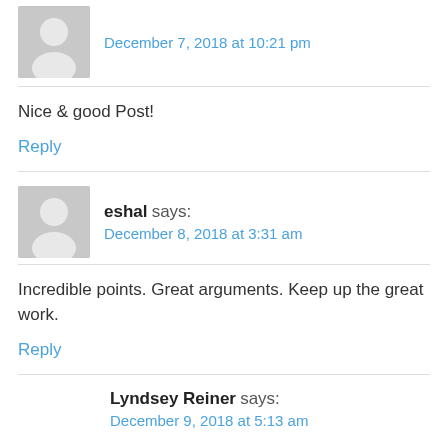December 7, 2018 at 10:21 pm
Nice & good Post!
Reply
eshal says: December 8, 2018 at 3:31 am
Incredible points. Great arguments. Keep up the great work.
Reply
Lyndsey Reiner says: December 9, 2018 at 5:13 am